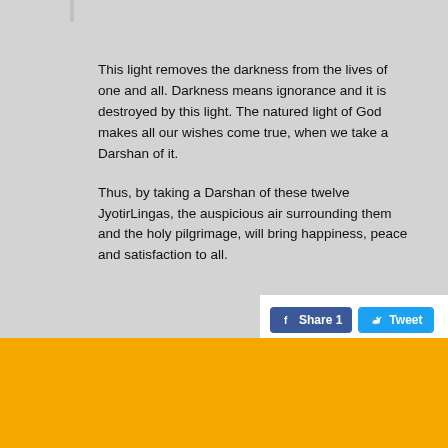This light removes the darkness from the lives of one and all. Darkness means ignorance and it is destroyed by this light. The natured light of God makes all our wishes come true, when we take a Darshan of it.
Thus, by taking a Darshan of these twelve JyotirLingas, the auspicious air surrounding them and the holy pilgrimage, will bring happiness, peace and satisfaction to all.
[Figure (other): Social sharing buttons: Facebook Share 1 and Tweet buttons]
To Know
Hinduism A Perspective
Shaivam A Perspective